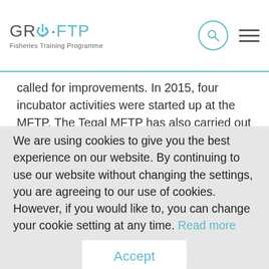GRO · FTP Fisheries Training Programme
called for improvements. In 2015, four incubator activities were started up at the MFTP. The Tegal MFTP has also carried out various other activities
We are using cookies to give you the best experience on our website. By continuing to use our website without changing the settings, you are agreeing to our use of cookies. However, if you would like to, you can change your cookie setting at any time. Read more
Accept